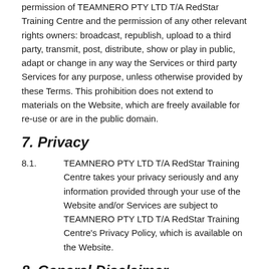permission of TEAMNERO PTY LTD T/A RedStar Training Centre and the permission of any other relevant rights owners: broadcast, republish, upload to a third party, transmit, post, distribute, show or play in public, adapt or change in any way the Services or third party Services for any purpose, unless otherwise provided by these Terms. This prohibition does not extend to materials on the Website, which are freely available for re-use or are in the public domain.
7. Privacy
8.1.          TEAMNERO PTY LTD T/A RedStar Training Centre takes your privacy seriously and any information provided through your use of the Website and/or Services are subject to TEAMNERO PTY LTD T/A RedStar Training Centre's Privacy Policy, which is available on the Website.
8. General Disclaimer